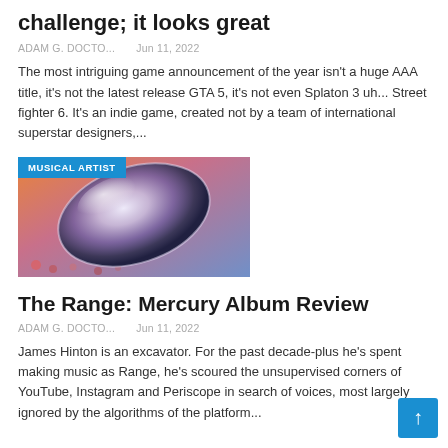challenge; it looks great
ADAM G. DOCTO...   Jun 11, 2022
The most intriguing game announcement of the year isn't a huge AAA title, it's not the latest release GTA 5, it's not even Splaton 3 uh... Street fighter 6. It's an indie game, created not by a team of international superstar designers,...
[Figure (photo): Album cover or promotional image with a metallic oval/lens shape on a warm orange-blue gradient background, with a 'MUSICAL ARTIST' badge overlay]
The Range: Mercury Album Review
ADAM G. DOCTO...   Jun 11, 2022
James Hinton is an excavator. For the past decade-plus he's spent making music as Range, he's scoured the unsupervised corners of YouTube, Instagram and Periscope in search of voices, most largely ignored by the algorithms of the platform...